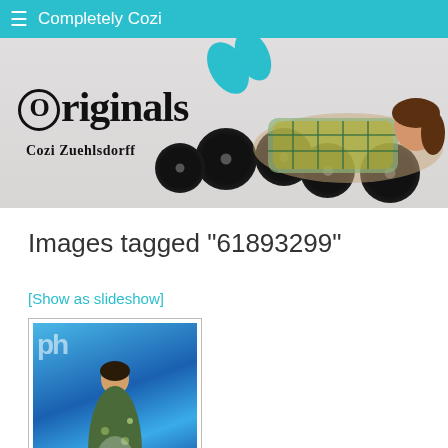Completely Cozi
[Figure (photo): Banner image for 'Originals by Cozi Zuehlsdorff' showing a young woman lying on the floor with vinyl records, wearing a plaid dress and teal socks. Text reads 'Originals' in large serif font and 'Cozi Zuehlsdorff' below.]
Images tagged "61893299"
[Show as slideshow]
[Figure (photo): Thumbnail photo of a person standing on a blue carpet/background, wearing a floral/patterned dress. Background shows partial text with letters 'ph' visible.]